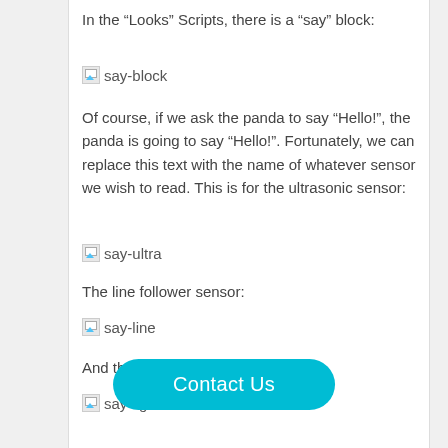In the “Looks” Scripts, there is a “say” block:
[Figure (screenshot): Broken image placeholder labeled 'say-block']
Of course, if we ask the panda to say “Hello!”, the panda is going to say “Hello!”. Fortunately, we can replace this text with the name of whatever sensor we wish to read. This is for the ultrasonic sensor:
[Figure (screenshot): Broken image placeholder labeled 'say-ultra']
The line follower sensor:
[Figure (screenshot): Broken image placeholder labeled 'say-line']
And the on-board light sensor:
[Figure (screenshot): Broken image placeholder labeled 'say-light']
For the plug…ake sure the port selected…t you have plugged your sensor into.